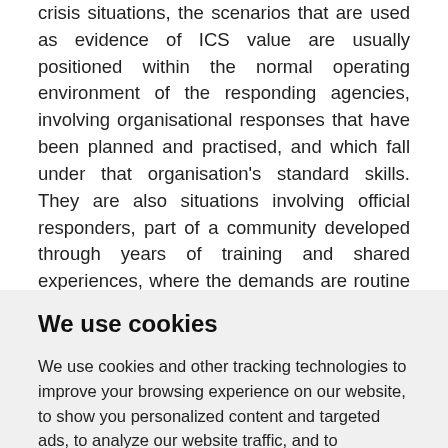crisis situations, the scenarios that are used as evidence of ICS value are usually positioned within the normal operating environment of the responding agencies, involving organisational responses that have been planned and practised, and which fall under that organisation's standard skills. They are also situations involving official responders, part of a community developed through years of training and shared experiences, where the demands are routine for them, and where the additional pressures created by differing organisational cultures can be
We use cookies
We use cookies and other tracking technologies to improve your browsing experience on our website, to show you personalized content and targeted ads, to analyze our website traffic, and to